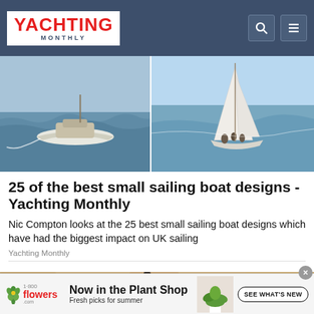YACHTING MONTHLY
[Figure (photo): Two sailing boats at sea: left image shows a motor-sailor with white hull in choppy water, right image shows a white sailboat with crew on deck in bright sunlight]
25 of the best small sailing boat designs - Yachting Monthly
Nic Compton looks at the 25 best small sailing boat designs which have had the biggest impact on UK sailing
Yachting Monthly
[Figure (photo): Close-up of a vintage black iron wall lantern mounted on a rough stone wall]
[Figure (photo): Advertisement: 1-800-flowers.com - Now in the Plant Shop, Fresh picks for summer, with a tropical plant in white pot. Button: SEE WHAT'S NEW]